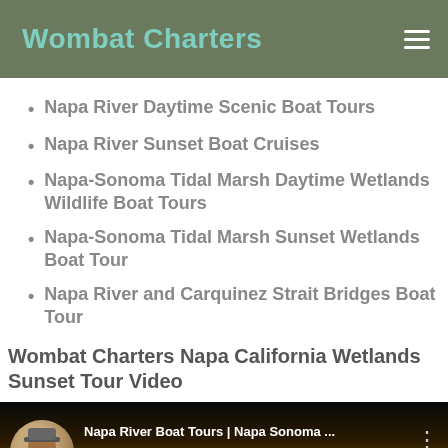Wombat Charters
Napa River Daytime Scenic Boat Tours
Napa River Sunset Boat Cruises
Napa-Sonoma Tidal Marsh Daytime Wetlands Wildlife Boat Tours
Napa-Sonoma Tidal Marsh Sunset Wetlands Boat Tour
Napa River and Carquinez Strait Bridges Boat Tour
Wombat Charters Napa California Wetlands Sunset Tour Video
[Figure (screenshot): YouTube video thumbnail showing 'Napa River Boat Tours | Napa Sonoma ...' with a circular avatar of a man in a hat on the left, video title text, a three-dot menu icon, and a background image of silhouetted figures against a golden sunset sky.]